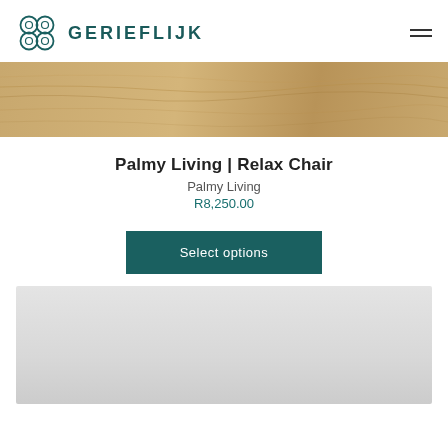GERIEFLIJK
[Figure (photo): Close-up of light wood grain texture in warm tan/beige tones, used as a hero banner image]
Palmy Living | Relax Chair
Palmy Living
R8,250.00
Select options
[Figure (photo): Light grey/white background partial product image at the bottom of the page]